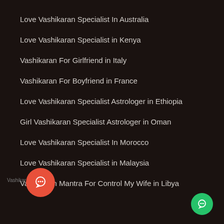Love Vashikaran Specialist In Australia
Love Vashikaran Specialist in Kenya
Vashikaran For Girlfriend in Italy
Vashikaran For Boyfriend in France
Love Vashikaran Specialist Astrologer in Ethiopia
Girl Vashikaran Specialist Astrologer in Oman
Love Vashikaran Specialist In Morocco
Love Vashikaran Specialist in Malaysia
Vashikaran Mantra For Control My Wife in Libya